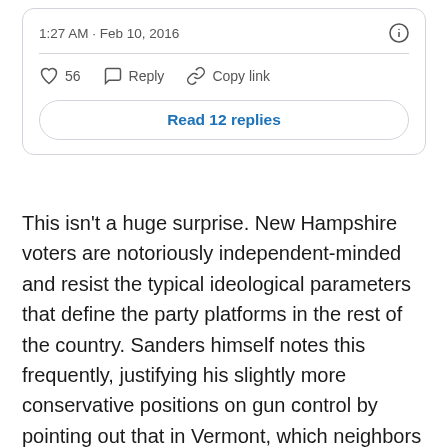[Figure (screenshot): Tweet card showing timestamp '1:27 AM · Feb 10, 2016', action buttons (like with count 56, reply, copy link), and a 'Read 12 replies' button]
This isn't a huge surprise. New Hampshire voters are notoriously independent-minded and resist the typical ideological parameters that define the party platforms in the rest of the country. Sanders himself notes this frequently, justifying his slightly more conservative positions on gun control by pointing out that in Vermont, which neighbors and is similar to New Hampshire, Democrats are more opposed to gun control than in the rest of the country.